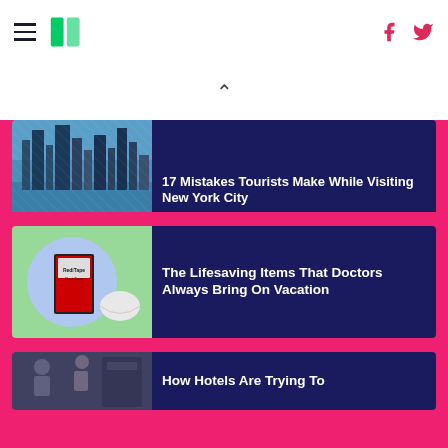HuffPost navigation with hamburger menu, logo, Facebook and Twitter icons
^
17 Mistakes Tourists Make While Visiting New York City
[Figure (photo): Aerial view of New York City skyline with skyscrapers and waterfront]
The Lifesaving Items That Doctors Always Bring On Vacation
[Figure (photo): Duct tape pocket size product, face mask, and travel health items on green and blue background]
How Hotels Are Trying To
[Figure (photo): People inside what appears to be a hotel or transit area]